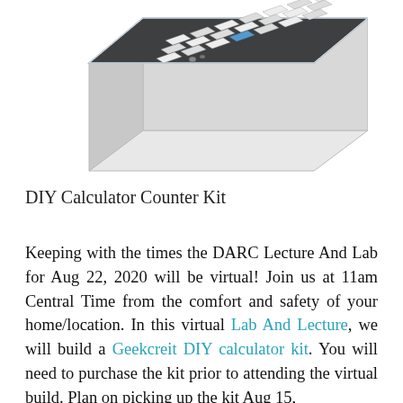[Figure (photo): Photo of a DIY Calculator Counter Kit in a clear acrylic case, showing a black circuit board with multiple keys/buttons arranged in a grid pattern, viewed from an angle.]
DIY Calculator Counter Kit
Keeping with the times the DARC Lecture And Lab for Aug 22, 2020 will be virtual! Join us at 11am Central Time from the comfort and safety of your home/location. In this virtual Lab And Lecture, we will build a Geekcreit DIY calculator kit. You will need to purchase the kit prior to attending the virtual build. Plan on picking up the kit Aug 15, 2020 from 10:30 to 11:30 at the Dall...